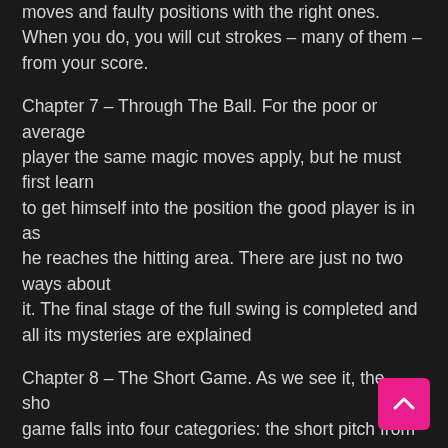moves and faulty positions with the right ones. When you do, you will cut strokes – many of them – from your score.
Chapter 7 – Through The Ball. For the poor or average player the same magic moves apply, but he must first learn to get himself into the position the good player is in as he reaches the hitting area. There are just no two ways about it. The final stage of the full swing is completed and all its mysteries are explained
Chapter 8 – The Short Game. As we see it, the short game falls into four categories: the short pitch from